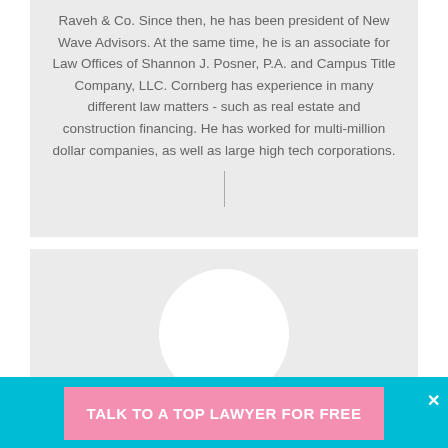Raveh & Co. Since then, he has been president of New Wave Advisors. At the same time, he is an associate for Law Offices of Shannon J. Posner, P.A. and Campus Title Company, LLC. Cornberg has experience in many different law matters - such as real estate and construction financing. He has worked for multi-million dollar companies, as well as large high tech corporations.
[Figure (photo): Circular avatar placeholder (white circle) for Vincent Esposito]
Vincent Esposito
TALK TO A TOP LAWYER FOR FREE